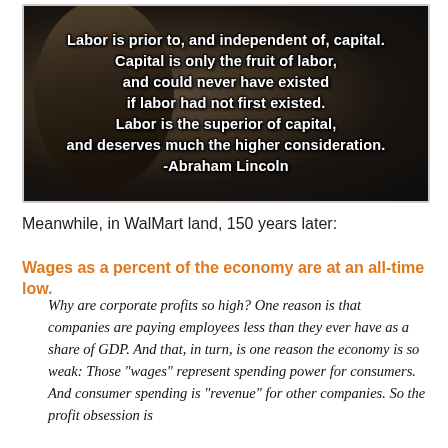[Figure (photo): Sepia-toned historic photograph of Abraham Lincoln with overlaid bold white text containing a quote about labor and capital attributed to Abraham Lincoln]
Meanwhile, in WalMart land, 150 years later:
Wages as a percent of the economy are at an all-time low.
Why are corporate profits so high? One reason is that companies are paying employees less than they ever have as a share of GDP. And that, in turn, is one reason the economy is so weak: Those "wages" represent spending power for consumers. And consumer spending is "revenue" for other companies. So the profit obsession is